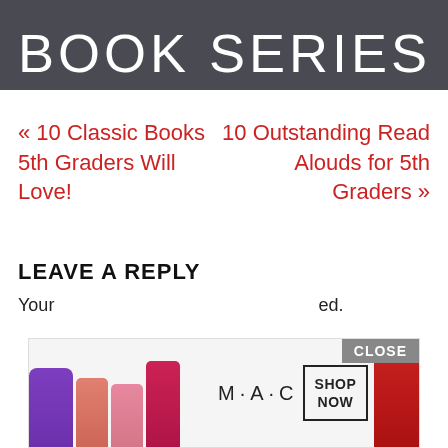[Figure (photo): Dark gray banner with large white thin-font text reading 'BOOK SERIES']
« 10 Classic Books 5th Graders Will Love!
10 Outstanding Read Alouds for 5th Graders »
LEAVE A REPLY
Your email address will not be published.
[Figure (advertisement): MAC cosmetics ad with lipsticks and SHOP NOW button]